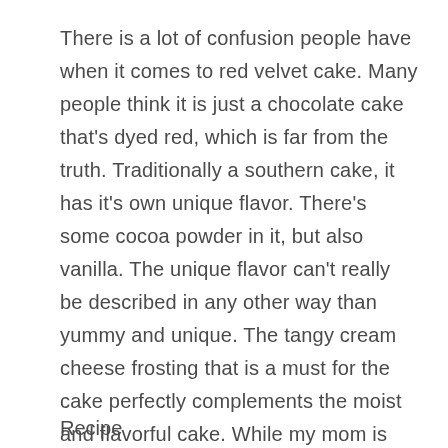There is a lot of confusion people have when it comes to red velvet cake. Many people think it is just a chocolate cake that's dyed red, which is far from the truth. Traditionally a southern cake, it has it's own unique flavor. There's some cocoa powder in it, but also vanilla. The unique flavor can't really be described in any other way than yummy and unique. The tangy cream cheese frosting that is a must for the cake perfectly complements the moist and flavorful cake. While my mom is the one who makes me the cake for my birthday, I make red velvet cake and cupcakes as often as I can. I'll find any excuse to whip up a batch of red velvet bliss.
Recipe